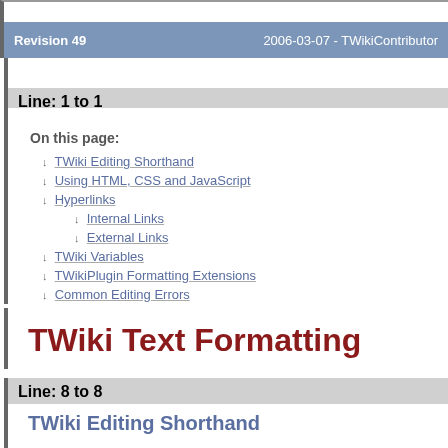Revision 49    2006-03-07 - TWikiContributor
Line: 1 to 1
On this page:
↓ TWiki Editing Shorthand
↓ Using HTML, CSS and JavaScript
↓ Hyperlinks
↓ Internal Links
↓ External Links
↓ TWiki Variables
↓ TWikiPlugin Formatting Extensions
↓ Common Editing Errors
TWiki Text Formatting
Line: 8 to 8
TWiki Editing Shorthand